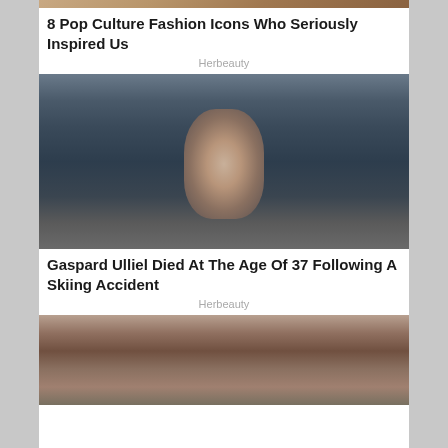[Figure (photo): Top partial photo strip showing warm toned image]
8 Pop Culture Fashion Icons Who Seriously Inspired Us
Herbeauty
[Figure (photo): Gaspard Ulliel standing with hands pressed together in prayer pose at a photo call, surrounded by photographers]
Gaspard Ulliel Died At The Age Of 37 Following A Skiing Accident
Herbeauty
[Figure (photo): Woman with dark hair at what appears to be a Fast and Furious event, partial image at bottom of page]